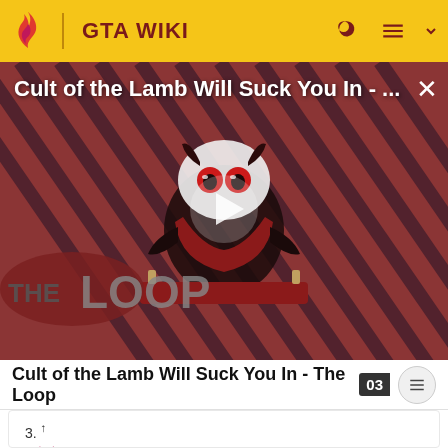GTA WIKI
[Figure (screenshot): Video thumbnail for 'Cult of the Lamb Will Suck You In - The Loop' showing a cartoon lamb character with red eyes on a striped background with 'THE LOOP' text and a play button overlay]
Cult of the Lamb Will Suck You In - The Loop
3. ↑
[Figure (illustration): Pink/magenta quotation mark illustration]